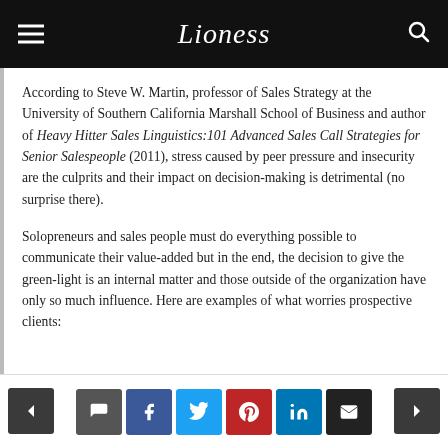Lioness
According to Steve W. Martin, professor of Sales Strategy at the University of Southern California Marshall School of Business and author of Heavy Hitter Sales Linguistics:101 Advanced Sales Call Strategies for Senior Salespeople (2011), stress caused by peer pressure and insecurity are the culprits and their impact on decision-making is detrimental (no surprise there).
Solopreneurs and sales people must do everything possible to communicate their value-added but in the end, the decision to give the green-light is an internal matter and those outside of the organization have only so much influence. Here are examples of what worries prospective clients:
Navigation and social sharing buttons